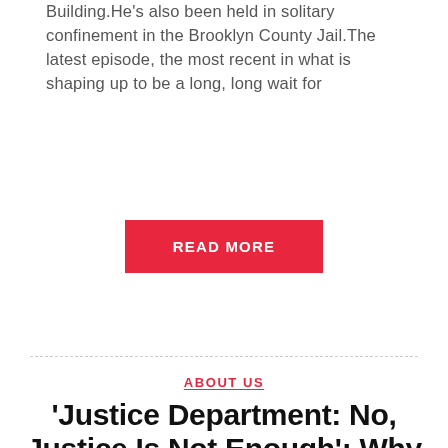Building.He's also been held in solitary confinement in the Brooklyn County Jail.The latest episode, the most recent in what is shaping up to be a long, long wait for
[Figure (other): Red 'READ MORE' button centered on page]
ABOUT US
'Justice Department: No, Justice Is Not Enough': Why We Can't Trust The Trump Administration